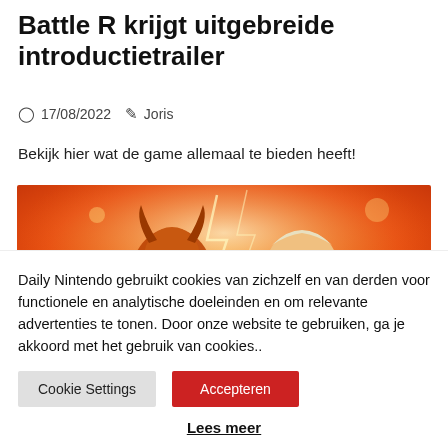Battle R krijgt uitgebreide introductietrailer
17/08/2022  Joris
Bekijk hier wat de game allemaal te bieden heeft!
[Figure (illustration): Orange-colored game artwork showing animated characters with helmets on a fiery background, with partial text 'SSOM' visible at the bottom left.]
Daily Nintendo gebruikt cookies van zichzelf en van derden voor functionele en analytische doeleinden en om relevante advertenties te tonen. Door onze website te gebruiken, ga je akkoord met het gebruik van cookies..
Cookie Settings
Accepteren
Lees meer